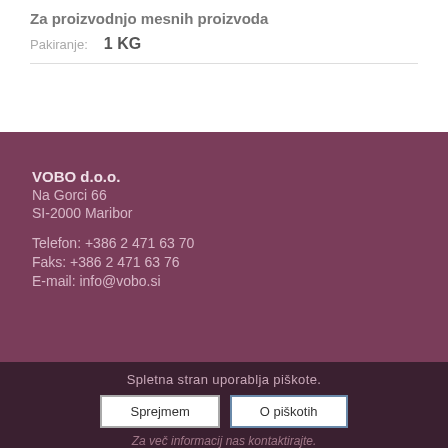Za proizvodnjo mesnih proizvoda
Pakiranje:   1 KG
VOBO d.o.o.
Na Gorci 66
SI-2000 Maribor

Telefon: +386 2 471 63 70
Faks: +386 2 471 63 76
E-mail: info@vobo.si
Spletna stran uporablja piškote.
Sprejmem
O piškotih
Za več informacij nas kontaktirajte.